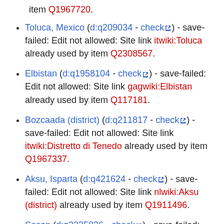item Q1967720.
Toluca, Mexico (d:q209034 - check) - save-failed: Edit not allowed: Site link itwiki:Toluca already used by item Q2308567.
Elbistan (d:q1958104 - check) - save-failed: Edit not allowed: Site link gagwiki:Elbistan already used by item Q117181.
Bozcaada (district) (d:q211817 - check) - save-failed: Edit not allowed: Site link itwiki:Distretto di Tenedo already used by item Q1967337.
Aksu, Isparta (d:q421624 - check) - save-failed: Edit not allowed: Site link nlwiki:Aksu (district) already used by item Q1911496.
Sason (d:q2225836 - check) - save-failed: Edit not allowed: Site link cawiki:Sason already used by item